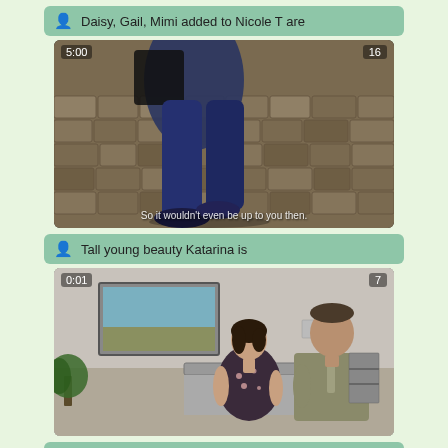Daisy, Gail, Mimi added to Nicole T are
[Figure (screenshot): Video thumbnail showing person's legs in jeans and dark shoes on cobblestone pavement, timestamp 5:00, count 16, subtitle 'So it wouldn't even be up to you then.']
Tall young beauty Katarina is
[Figure (screenshot): Video thumbnail showing a woman in floral dress sitting next to a man in a suit in an office/waiting room, timestamp 0:01, count 7]
(partial label bar cut off at bottom)